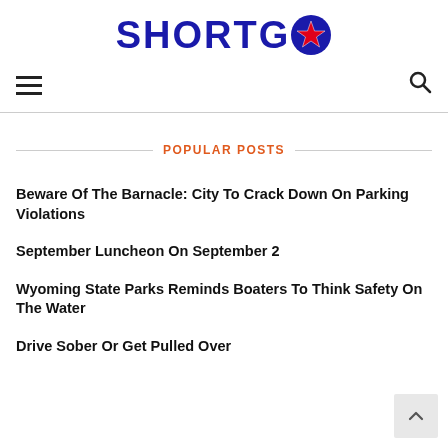SHORTGO
POPULAR POSTS
Beware Of The Barnacle: City To Crack Down On Parking Violations
September Luncheon On September 2
Wyoming State Parks Reminds Boaters To Think Safety On The Water
Drive Sober Or Get Pulled Over